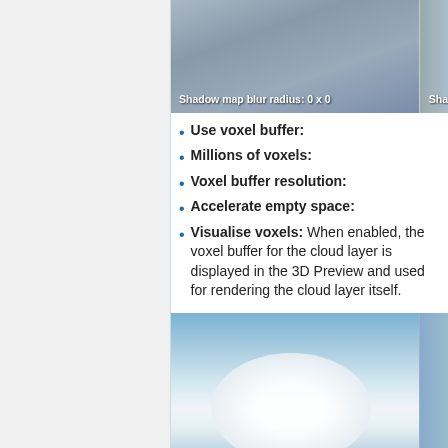[Figure (photo): Cloud/sky aerial photo with label 'Shadow map blur radius: 0 x 0', partially cropped with right edge showing]
Use voxel buffer:
Millions of voxels:
Voxel buffer resolution:
Accelerate empty space:
Visualise voxels: When enabled, the voxel buffer for the cloud layer is displayed in the 3D Preview and used for rendering the cloud layer itself.
[Figure (photo): Aerial photo of clouds with label 'Millions of voxels: 0.02', partially cropped with right edge showing]
Use voxels for shadows: